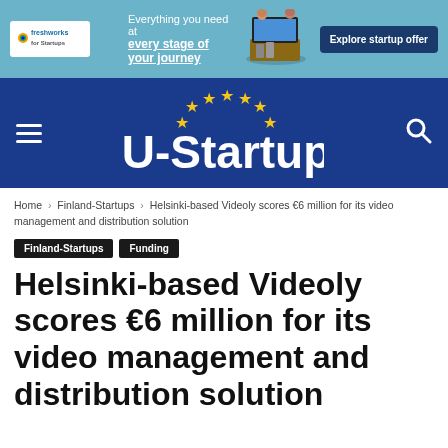[Figure (screenshot): Freshworks for Startups advertisement banner with teal background, logo, text 'Everything you need at every stage of your journey', and 'Explore startup offer' button]
[Figure (logo): EU-Startups website navigation bar with dark blue background, hamburger menu, EU-Startups logo with gold stars, and search icon]
Home › Finland-Startups › Helsinki-based Videoly scores €6 million for its video management and distribution solution
Finland-Startups
Funding
Helsinki-based Videoly scores €6 million for its video management and distribution solution